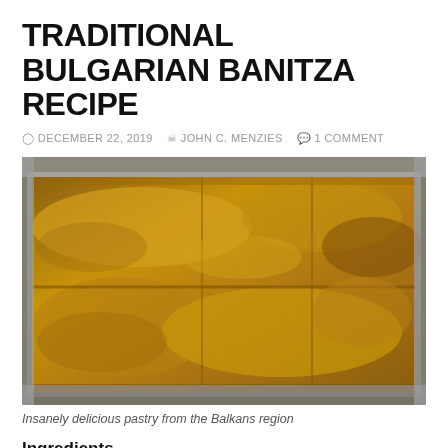TRADITIONAL BULGARIAN BANITZA RECIPE
DECEMBER 22, 2019  JOHN C. MENZIES  1 COMMENT
[Figure (photo): A golden-brown baked Bulgarian banitza pastry in a rectangular aluminum foil tray, cut into portions, viewed from above at a slight angle.]
Insanely delicious pastry from the Balkans region
Ingredients